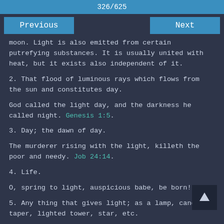326/625
Previous
Next
moon. Light is also emitted from certain putrefying substances. It is usually united with heat, but it exists also independent of it.
2. That flood of luminous rays which flows from the sun and constitutes day.
God called the light day, and the darkness he called night. Genesis 1:5.
3. Day; the dawn of day.
The murderer rising with the light, killeth the poor and needy. Job 24:14.
4. Life.
O, spring to light, auspicious babe, be born!
5. Any thing that gives light; as a lamp, candle, taper, lighted tower, star, etc.
Then he called for a light, and sprang in - Acts 16:29.
I have set thee to be a light to the Gentiles. Acts 13:47.